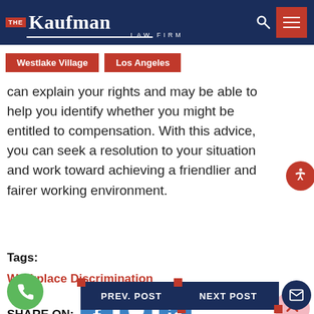[Figure (screenshot): The Kaufman Law Firm navigation bar with logo, search icon, hamburger menu, and location buttons for Westlake Village and Los Angeles]
...benefit from the support of the...in Los Angeles. ...sh... can explain your rights and may be able to help you identify whether you might be entitled to compensation. With this advice, you can seek a resolution to your situation and work toward achieving a friendlier and fairer working environment.
Tags:
Workplace Discrimination
SHARE ON: